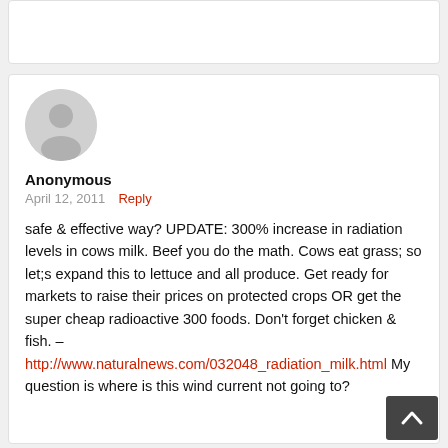[Figure (other): Gray rounded card at top, partially visible]
[Figure (other): Generic user avatar — gray circle with person silhouette]
Anonymous
April 12, 2011  Reply
safe & effective way? UPDATE: 300% increase in radiation levels in cows milk. Beef you do the math. Cows eat grass; so let;s expand this to lettuce and all produce. Get ready for markets to raise their prices on protected crops OR get the super cheap radioactive 300 foods. Don't forget chicken & fish. – http://www.naturalnews.com/032048_radiation_milk.html My question is where is this wind current not going to?